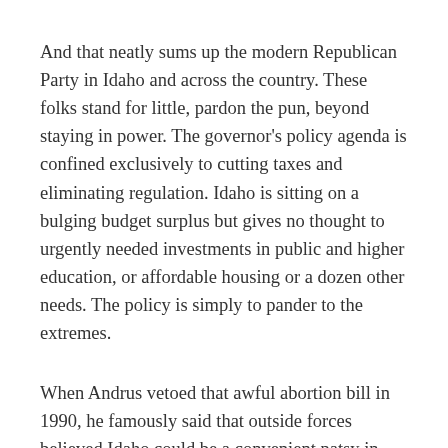And that neatly sums up the modern Republican Party in Idaho and across the country. These folks stand for little, pardon the pun, beyond staying in power. The governor's policy agenda is confined exclusively to cutting taxes and eliminating regulation. Idaho is sitting on a bulging budget surplus but gives no thought to urgently needed investments in public and higher education, or affordable housing or a dozen other needs. The policy is simply to pander to the extremes.
When Andrus vetoed that awful abortion bill in 1990, he famously said that outside forces believed Idaho could be a convenient patsy in their plan to overturn Roe. But Idaho was "no patsy," Andrus said, in a quote that was published around the country. Three decades on Idaho has indeed become precisely the kind of patsy Andrus sought to prevent – a breeding ground for rightwing radical politics